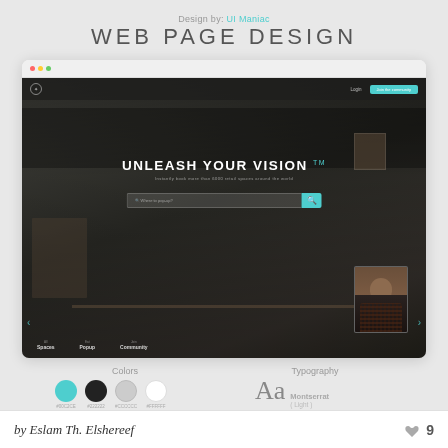Design by: UI Maniac
WEB PAGE DESIGN
[Figure (screenshot): Browser screenshot mockup of a web page design titled 'UNLEASH YOUR VISION TM' with a dark room interior background, navigation bar, search bar with teal button, and avatar photo in bottom right. Bottom shows navigation items: All Spaces, Eat, Popup, Community.]
Colors
#00C2CE  #222222  #CCCCCC  #FFFFFF
Typography
Aa  Montserrat (Light)
by Eslam Th. Elshereef
9